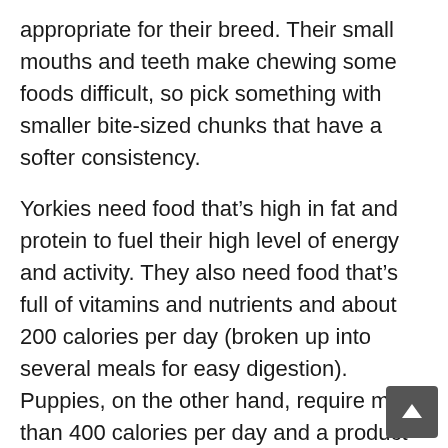appropriate for their breed. Their small mouths and teeth make chewing some foods difficult, so pick something with smaller bite-sized chunks that have a softer consistency.
Yorkies need food that's high in fat and protein to fuel their high level of energy and activity. They also need food that's full of vitamins and nutrients and about 200 calories per day (broken up into several meals for easy digestion). Puppies, on the other hand, require more than 400 calories per day and a product that's specially formulated for their age.
It's a good idea to check labels carefully for high-quality ingredients. Good protein sources include fish, chicken, turkey, beef, and lamb. You'll also want to look for whole grains and veggies, like sweet potatoes. Stay away from anything containing unnamed animal sources (aka “meat”), wheat gluten, animal plasma or by-products,